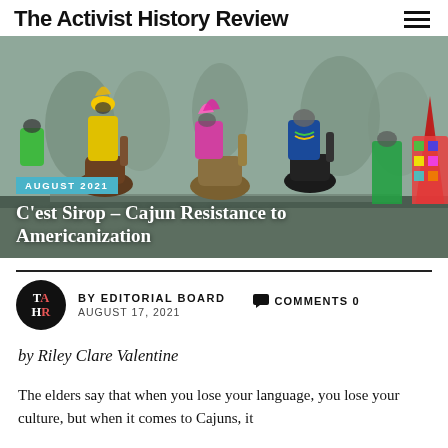The Activist History Review
[Figure (photo): Colorful Cajun Mardi Gras riders on horseback in elaborate costumes with feathers and beaded decorations, riding down a road in foggy conditions.]
AUGUST 2021
C'est Sirop – Cajun Resistance to Americanization
BY EDITORIAL BOARD  AUGUST 17, 2021
COMMENTS 0
by Riley Clare Valentine
The elders say that when you lose your language, you lose your culture, but when it comes to Cajuns, it